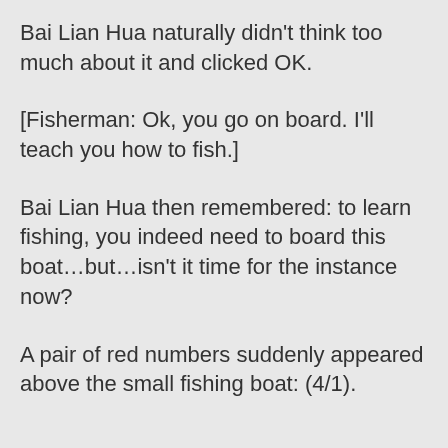Bai Lian Hua naturally didn't think too much about it and clicked OK.
[Fisherman: Ok, you go on board. I'll teach you how to fish.]
Bai Lian Hua then remembered: to learn fishing, you indeed need to board this boat…but…isn't it time for the instance now?
A pair of red numbers suddenly appeared above the small fishing boat: (4/1).